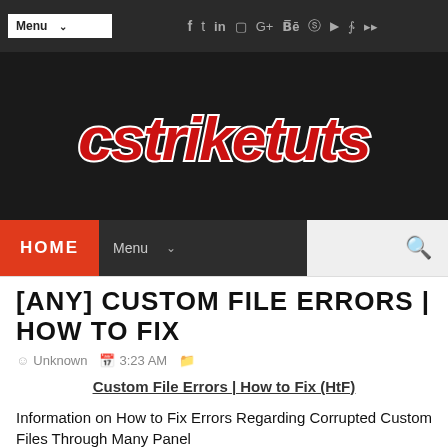Menu  (social icons: f, t, in, instagram, G+, Be, vine, youtube, pinterest, soundcloud)
[Figure (logo): cstriketuts logo — stylized red graffiti text with white outline on dark background]
HOME  Menu ∨  🔍
[ANY] CUSTOM FILE ERRORS | HOW TO FIX
Unknown  3:23 AM
Custom File Errors | How to Fix (HtF)
Information on How to Fix Errors Regarding Corrupted Custom Files Through Many Panel